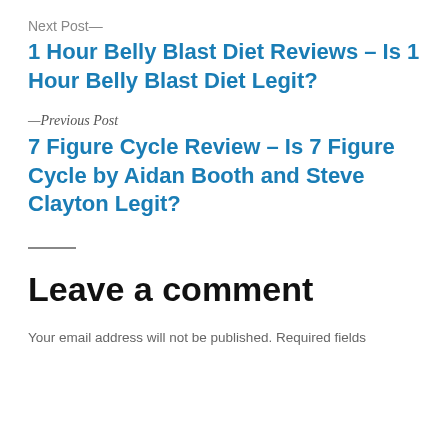Next Post—
1 Hour Belly Blast Diet Reviews – Is 1 Hour Belly Blast Diet Legit?
—Previous Post
7 Figure Cycle Review – Is 7 Figure Cycle by Aidan Booth and Steve Clayton Legit?
Leave a comment
Your email address will not be published. Required fields